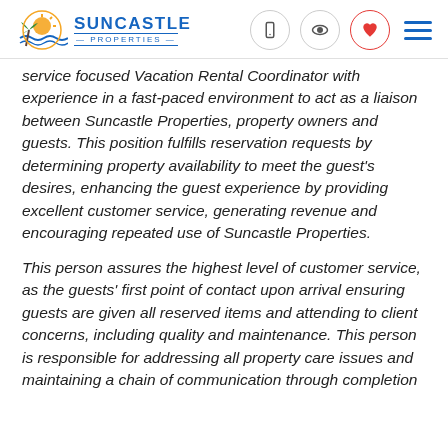Suncastle Properties
service focused Vacation Rental Coordinator with experience in a fast-paced environment to act as a liaison between Suncastle Properties, property owners and guests. This position fulfills reservation requests by determining property availability to meet the guest's desires, enhancing the guest experience by providing excellent customer service, generating revenue and encouraging repeated use of Suncastle Properties.
This person assures the highest level of customer service, as the guests' first point of contact upon arrival ensuring guests are given all reserved items and attending to client concerns, including quality and maintenance. This person is responsible for addressing all property care issues and maintaining a chain of communication through completion